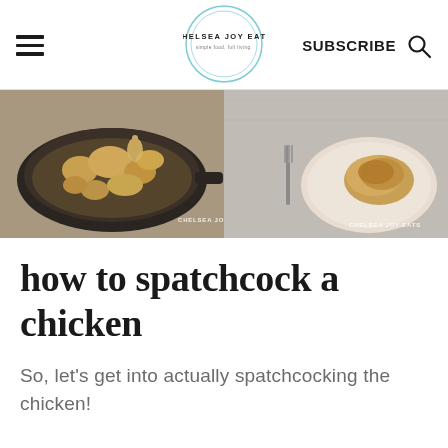Chelsea Joy Eats — SUBSCRIBE
[Figure (photo): Two food photos side by side: left shows a cast iron skillet with roasted chicken and vegetables, right shows a cooked chicken piece on a plate with a fork, both watermarked CHELSEA JOY EATS]
how to spatchcock a chicken
So, let's get into actually spatchcocking the chicken!